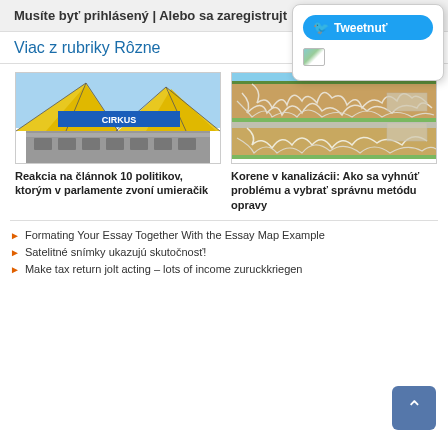Musíte byť prihlásený | Alebo sa zaregistrujt
Viac z rubriky Rôzne
[Figure (photo): Circus building with yellow tent structures and CIRKUS banner]
[Figure (illustration): Cross-section illustration of roots in sewage/pipes]
Reakcia na článnok 10 politikov, ktorým v parlamente zvoní umieračik
Korene v kanalizácii: Ako sa vyhnúť problému a vybrať správnu metódu opravy
Formating Your Essay Together With the Essay Map Example
Satelitné snímky ukazujú skutočnosť!
Make tax return jolt acting – lots of income zuruckkriegen